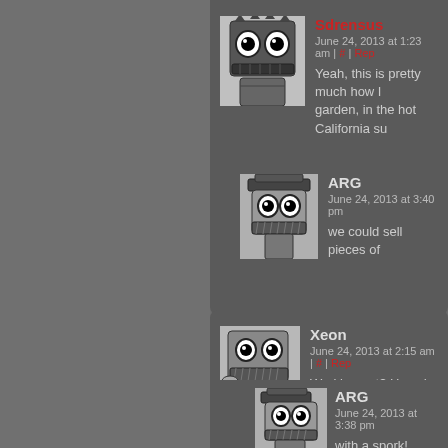Sdrensus
June 24, 2013 at 1:23 am | # | Reply
Yeah, this is pretty much how I... garden, in the hot California su...
ARG
June 24, 2013 at 3:40 pm
we could sell pieces of...
Xeon
June 24, 2013 at 2:15 am | # | Reply
Working out? How do you eat t...
ARG
June 24, 2013 at 3:38 pm
with a spork!